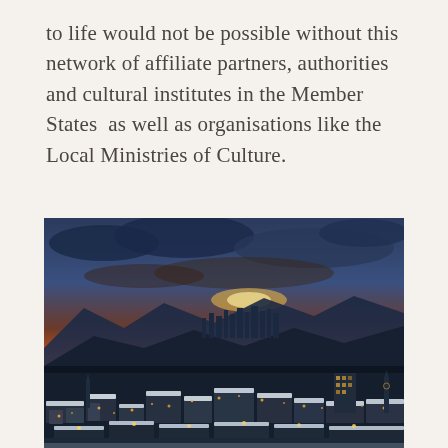to life would not be possible without this network of affiliate partners, authorities and cultural institutes in the Member States  as well as organisations like the Local Ministries of Culture.
[Figure (photo): Aerial panoramic view of a snowy city at sunset/dusk with dramatic orange and red sky, snow-covered rooftops, city lights glowing, mountains in the background — likely Sarajevo, Bosnia and Herzegovina.]